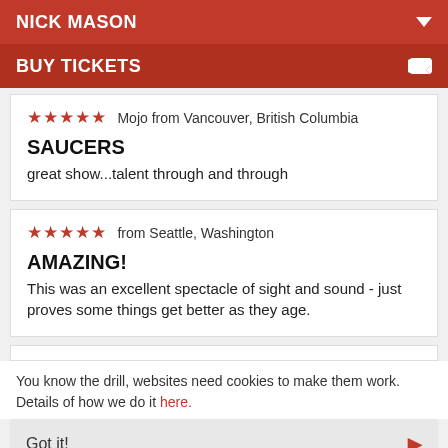NICK MASON
BUY TICKETS
★★★★★ Mojo from Vancouver, British Columbia
SAUCERS
great show...talent through and through
★★★★★ from Seattle, Washington
AMAZING!
This was an excellent spectacle of sight and sound - just proves some things get better as they age.
You know the drill, websites need cookies to make them work. Details of how we do it here.
Got it!